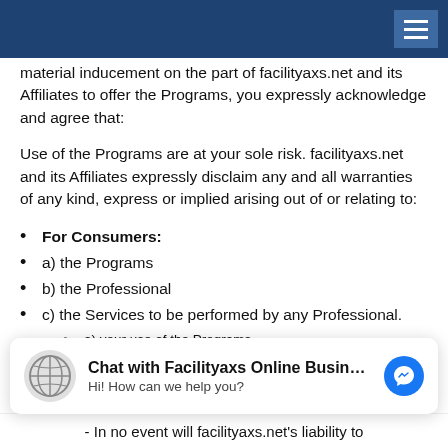[Navigation bar with hamburger menu]
material inducement on the part of facilityaxs.net and its Affiliates to offer the Programs, you expressly acknowledge and agree that:
Use of the Programs are at your sole risk. facilityaxs.net and its Affiliates expressly disclaim any and all warranties of any kind, express or implied arising out of or relating to:
For Consumers:
a) the Programs
b) the Professional
c) the Services to be performed by any Professional.
a) your use of the Programs
b) the engagement by you of any Professional
c) any acts, negligence, breach of contract or other conduct
[Figure (other): Chat widget: logo, 'Chat with Facilityaxs Online Busin...', 'Hi! How can we help you?', Messenger icon]
- In no event will facilityaxs.net's liability to